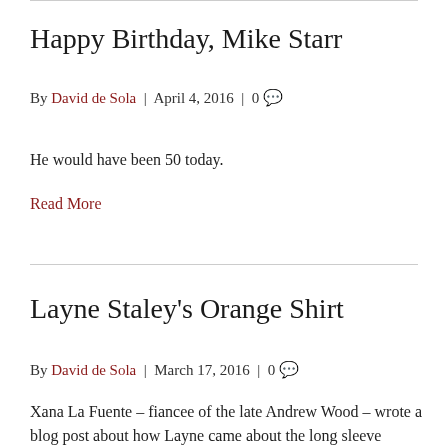Happy Birthday, Mike Starr
By David de Sola | April 4, 2016 | 0 💬
He would have been 50 today.
Read More
Layne Staley's Orange Shirt
By David de Sola | March 17, 2016 | 0 💬
Xana La Fuente – fiancee of the late Andrew Wood – wrote a blog post about how Layne came about the long sleeve orange shirt he wore in the "Man in the Box" video…